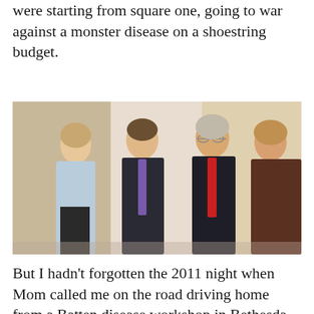were starting from square one, going to war against a monster disease on a shoestring budget.
[Figure (photo): Four people posing together indoors: a smiling woman in a light blue cardigan on the left, a young man in a dark suit with purple tie, an older man with glasses wearing a dark suit with red tie, and a woman in a brown jacket on the right.]
But I hadn't forgotten the 2011 night when Mom called me on the road driving home from a Batten disease workshop in Bethesda, Maryland. She said I'd started talking about